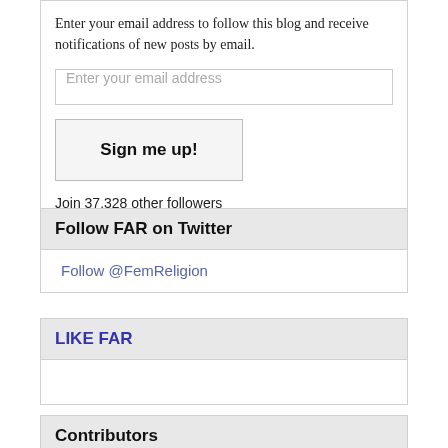Enter your email address to follow this blog and receive notifications of new posts by email.
Enter your email address
Sign me up!
Join 37,328 other followers
Follow FAR on Twitter
Follow @FemReligion
LIKE FAR
Contributors